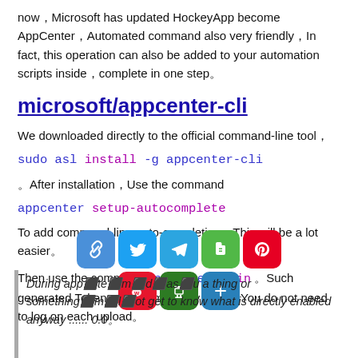now，Microsoft has updated HockeyApp become AppCenter，Automated command also very friendly，In fact, this operation can also be added to your automation scripts inside，complete in one step。
microsoft/appcenter-cli
We downloaded directly to the official command-line tool，
sudo asl install -g appcenter-cli 。After installation，Use the command
appcenter setup-autocomplete To add command-line auto-completion，This will be a lot easier。
Then use the command appcenter login 。Such generated Token will automatically save，You do not need to log on each upload。
During app ... te ... m ... d ... as ... u a thing or something ... m ... l ... ot get to know what is directly enabled anyway ...... 0.0。